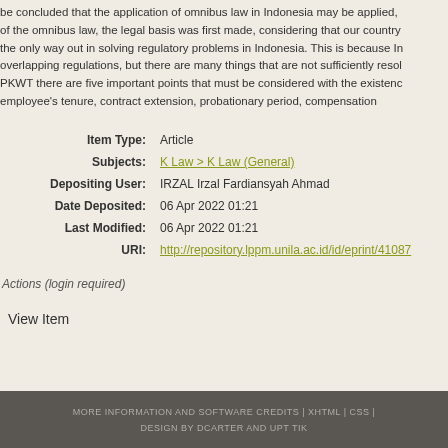be concluded that the application of omnibus law in Indonesia may be applied, of the omnibus law, the legal basis was first made, considering that our country the only way out in solving regulatory problems in Indonesia. This is because In overlapping regulations, but there are many things that are not sufficiently resol PKWT there are five important points that must be considered with the existence employee's tenure, contract extension, probationary period, compensation
| Item Type: | Article |
| Subjects: | K Law > K Law (General) |
| Depositing User: | IRZAL Irzal Fardiansyah Ahmad |
| Date Deposited: | 06 Apr 2022 01:21 |
| Last Modified: | 06 Apr 2022 01:21 |
| URI: | http://repository.lppm.unila.ac.id/id/eprint/41087 |
Actions (login required)
View Item
MORE INFORMATION AND SOFTWARE CREDITS | XHTML | CSS | DESIGN BY DCARTER AND UPT TIK